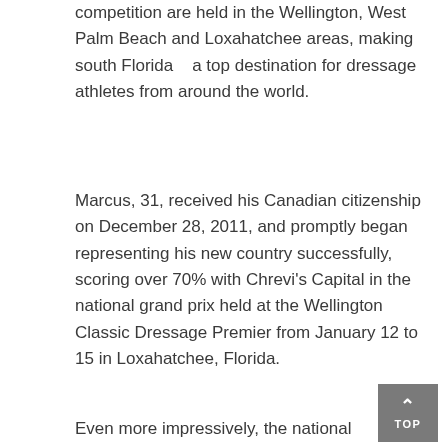competition are held in the Wellington, West Palm Beach and Loxahatchee areas, making south Florida   a top destination for dressage athletes from around the world.
Marcus, 31, received his Canadian citizenship on December 28, 2011, and promptly began representing his new country successfully, scoring over 70% with Chrevi's Capital in the national grand prix held at the Wellington Classic Dressage Premier from January 12 to 15 in Loxahatchee, Florida.
Even more impressively, the national